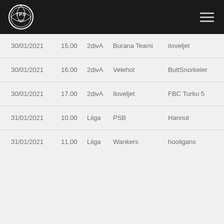[Figure (logo): TPS 1922 basketball club circular logo in white on black background]
| Date | Time | Division | Home | Away |
| --- | --- | --- | --- | --- |
| 30/01/2021 | 15.00 | 2divA | Burana Teami | iloveljet |
| 30/01/2021 | 16.00 | 2divA | Velehot | ButtSnorkeler |
| 30/01/2021 | 17.00 | 2divA | iloveljet | FBC Turku 5 |
| 31/01/2021 | 10.00 | Liiga | PSB | Hannut |
| 31/01/2021 | 11.00 | Liiga | Wankers | hooligans |